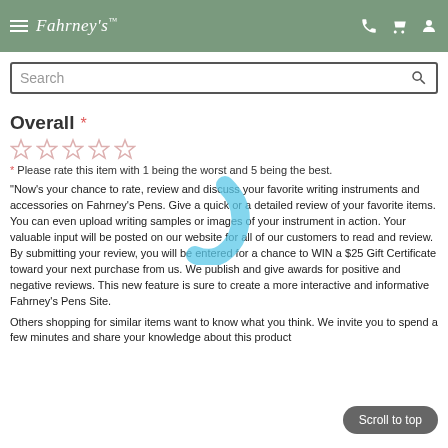Fahrney's Pens — navigation header with hamburger menu, logo, phone, cart, and account icons
Search
Overall *
[Figure (other): Five empty star rating icons for user input]
* Please rate this item with 1 being the worst and 5 being the best.
"Now's your chance to rate, review and discuss your favorite writing instruments and accessories on Fahrney's Pens. Give a quick or a detailed review of your favorite items. You can even upload writing samples or images of your instrument in action. Your valuable input will be posted on our website for all of our customers to read and review. By submitting your review, you will be entered for a chance to WIN a $25 Gift Certificate toward your next purchase from us. We publish and give awards for positive and negative reviews. This new feature is sure to create a more interactive and informative Fahrney's Pens Site.
Others shopping for similar items want to know what you think. We invite you to spend a few minutes and share your knowledge about this product with us. We publish better reviews and you can even...